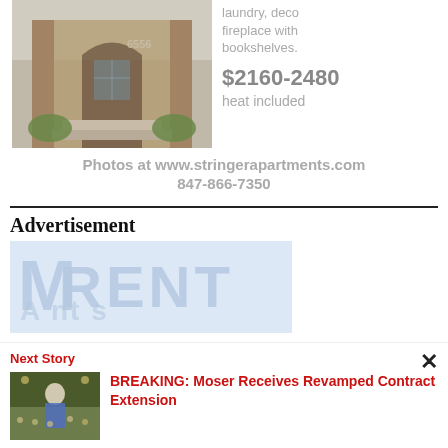[Figure (photo): Exterior brick apartment building entrance with steps and bushes, number 6556 visible]
laundry, deco fireplace with bookshelves. $2160-2480 heat included
Photos at www.stringerapartments.com
847-866-7350
Advertisement
[Figure (photo): RENT advertisement banner with large faded blue text]
Next Story
[Figure (photo): Basketball coach standing in arena with crowd in background]
BREAKING: Moser Receives Revamped Contract Extension